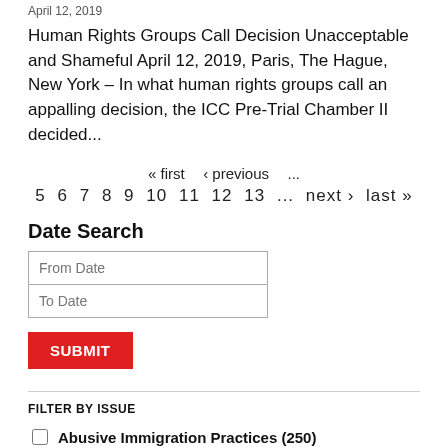April 12, 2019
Human Rights Groups Call Decision Unacceptable and Shameful April 12, 2019, Paris, The Hague, New York – In what human rights groups call an appalling decision, the ICC Pre-Trial Chamber II decided...
« first  ‹ previous  ...  5  6  7  8  9  10  11  12  13  ...  next ›  last »
Date Search
From Date
To Date
SUBMIT
FILTER BY ISSUE
Abusive Immigration Practices (250)